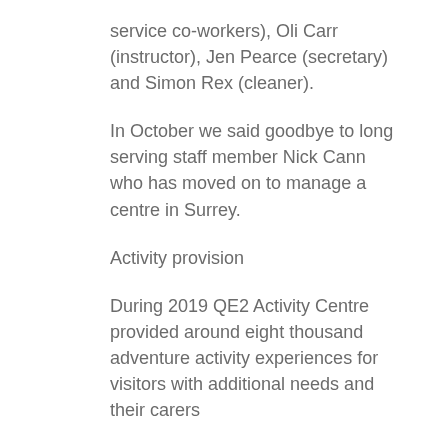service co-workers), Oli Carr (instructor), Jen Pearce (secretary) and Simon Rex (cleaner).
In October we said goodbye to long serving staff member Nick Cann who has moved on to manage a centre in Surrey.
Activity provision
During 2019 QE2 Activity Centre provided around eight thousand adventure activity experiences for visitors with additional needs and their carers
Each week we have around 40 bookings from local special schools, care homes,